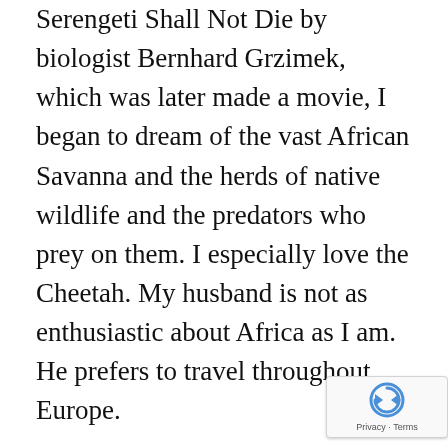Serengeti Shall Not Die by biologist Bernhard Grzimek, which was later made a movie, I began to dream of the vast African Savanna and the herds of native wildlife and the predators who prey on them. I especially love the Cheetah. My husband is not as enthusiastic about Africa as I am. He prefers to travel throughout Europe.
I stumbled across an EARTHWATCH advertisement in a newspaper, being attracted by a picture of a cheetah included with the article. EARTHWATCH is an organization through which anyone can sign up to be a volunteer in the caretaking and conservation of animals all around the world. What interested me most about the article, was a hyperlink www.cheetah.org, which